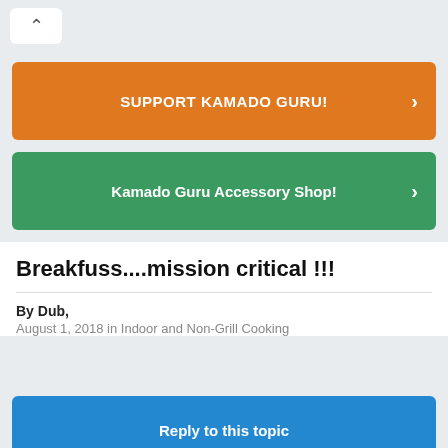[Figure (screenshot): Back/up chevron button in white rounded rectangle]
SUPPORT KAMADO GURU!
Kamado Guru Accessory Shop!
Breakfuss....mission critical !!!
By Dub,
August 1, 2018 in Indoor and Non-Grill Cooking
Reply to this topic